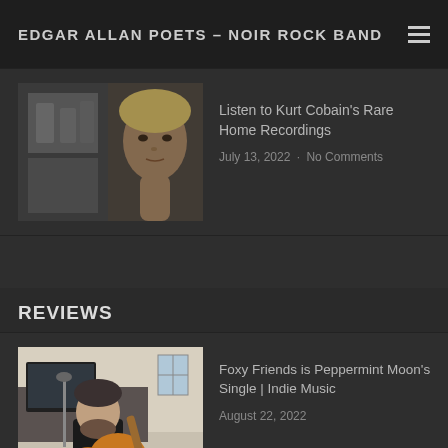EDGAR ALLAN POETS – NOIR ROCK BAND
[Figure (photo): Black and white photo collage showing a band on the left and Kurt Cobain portrait on the right]
Listen to Kurt Cobain's Rare Home Recordings
July 13, 2022 · No Comments
REVIEWS
[Figure (photo): Photo of a man playing acoustic guitar in a home studio setting]
Foxy Friends is Peppermint Moon's Single | Indie Music
August 22, 2022
These Trying Times is Satsuma Scout | Indie Music